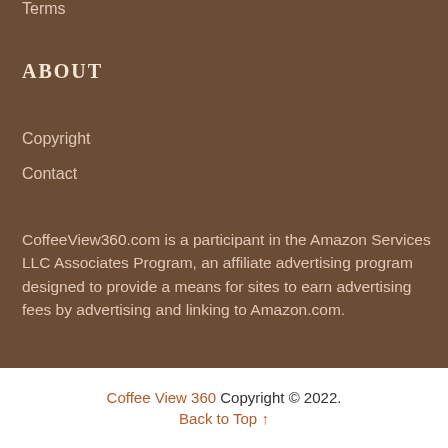Terms
ABOUT
Copyright
Contact
CoffeeView360.com is a participant in the Amazon Services LLC Associates Program, an affiliate advertising program designed to provide a means for sites to earn advertising fees by advertising and linking to Amazon.com.
Coffee View 360 Copyright © 2022. Back to Top ↑